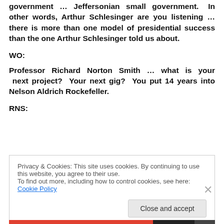government … Jeffersonian small government. In other words, Arthur Schlesinger are you listening … there is more than one model of presidential success than the one Arthur Schlesinger told us about.
WO:
Professor Richard Norton Smith … what is your next project? Your next gig? You put 14 years into Nelson Aldrich Rockefeller.
RNS:
Privacy & Cookies: This site uses cookies. By continuing to use this website, you agree to their use.
To find out more, including how to control cookies, see here: Cookie Policy